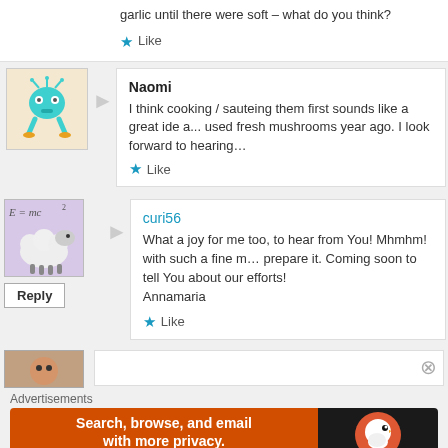garlic until there were soft – what do you think?
Like
Naomi
I think cooking / sauteing them first sounds like a great idea... used fresh mushrooms year ago. I look forward to hearing...
Like
curi56
What a joy for me too, to hear from You! Mhmhm! with such a fine m... prepare it. Coming soon to tell You about our efforts!
Annamaria
Like
Reply
Advertisements
[Figure (infographic): DuckDuckGo advertisement banner: orange left section with text 'Search, browse, and email with more privacy. All in One Free App' and dark right section with DuckDuckGo duck logo and brand name.]